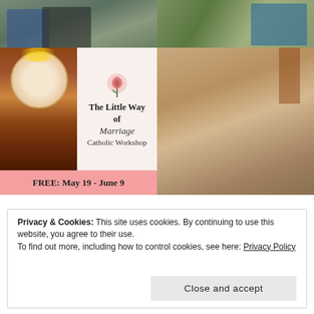[Figure (photo): Top-left photo of couple standing outdoors among trees]
[Figure (photo): Top-right photo of man smiling, outdoors]
[Figure (illustration): Advertisement for 'The Little Way of Marriage Catholic Workshop' featuring image of Saint Therese with roses, a pink rose icon, and text. Pink banner at bottom reads: FREE: May 19 - June 9]
[Figure (photo): Bottom-right photo of family group: man, woman, and four boys dressed up, standing in front of a cross/altar]
Privacy & Cookies: This site uses cookies. By continuing to use this website, you agree to their use.
To find out more, including how to control cookies, see here: Privacy Policy
Close and accept